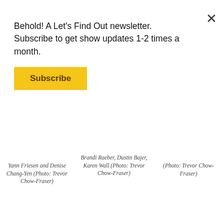Behold! A Let's Find Out newsletter. Subscribe to get show updates 1-2 times a month.
Subscribe
Yann Friesen and Denise Chang-Yen (Photo: Trevor Chow-Fraser)
Brandi Raeber, Dustin Bajer, Karen Wall (Photo: Trevor Chow-Fraser)
(Photo: Trevor Chow-Fraser)
Next, you'll hear from Miranda Lucas, a University of Lethbridge PhD student with a concentration in Evolution and Human Behaviour (she works with the Lichen Lab there).